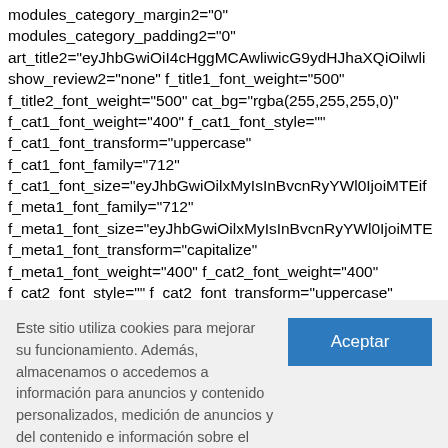modules_category_margin2="0" modules_category_padding2="0" art_title2="eyJhbGwiOiI4cHggMCAwliwicG9ydHJhaXQiOilwli show_review2="none" f_title1_font_weight="500" f_title2_font_weight="500" cat_bg="rgba(255,255,255,0)" f_cat1_font_weight="400" f_cat1_font_style="" f_cat1_font_transform="uppercase" f_cat1_font_family="712" f_cat1_font_size="eyJhbGwiOilxMyIsInBvcnRyYWl0IjoiMTEif f_meta1_font_family="712" f_meta1_font_size="eyJhbGwiOilxMyIsInBvcnRyYWl0IjoiMTE f_meta1_font_transform="capitalize" f_meta1_font_weight="400" f_cat2_font_weight="400" f_cat2_font_style="" f_cat2_font_transform="uppercase" f_cat2_font_family="712" f_cat2_font_size="11"
Este sitio utiliza cookies para mejorar su funcionamiento. Además, almacenamos o accedemos a información para anuncios y contenido personalizados, medición de anuncios y del contenido e información sobre el público, así como para desarrollar y mejorar productos.